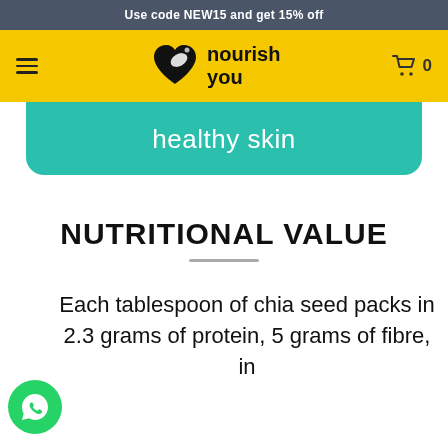Use code NEW15 and get 15% off
[Figure (logo): Nourish You logo with heart/bird icon on yellow navigation bar]
healthy skin
NUTRITIONAL VALUE
Each tablespoon of chia seed packs in 2.3 grams of protein, 5 grams of fibre, in